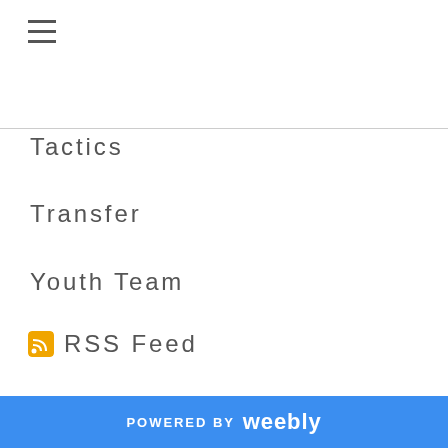[Figure (other): Hamburger menu icon (three horizontal lines)]
Tactics
Transfer
Youth Team
RSS Feed
[Figure (photo): Book cover for 'The Glory Glory Nights' with foreword by Gareth Bale, showing black and white image of football players celebrating under stadium lights with Tottenham Hotspur crest]
POWERED BY weebly